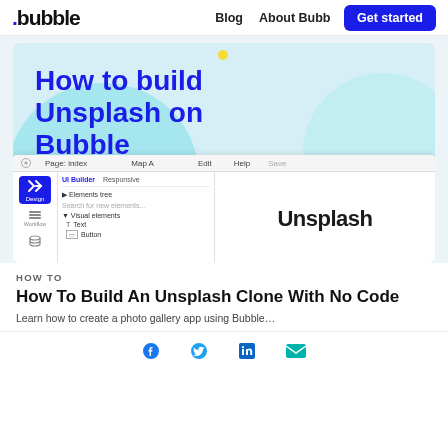.bubble  Blog  About Bubb  Get started
[Figure (screenshot): Bubble app builder screenshot showing 'How to build Unsplash on Bubble' hero image with the Bubble UI builder interface and the Unsplash logo.]
HOW TO
How To Build An Unsplash Clone With No Code
Learn how to create a photo gallery app using Bubble...
Social share icons: Facebook, Twitter, LinkedIn, Email